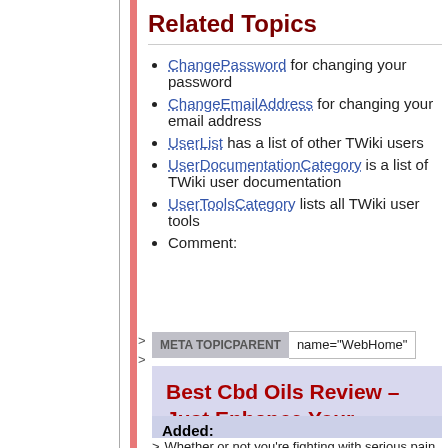Related Topics
ChangePassword for changing your password
ChangeEmailAddress for changing your email address
UserList has a list of other TWiki users
UserDocumentationCategory is a list of TWiki user documentation
UserToolsCategory lists all TWiki user tools
Comment:
> META TOPICPARENT name="WebHome"
Best Cbd Oils Review – Just Enhance Your Knowledge Now!
Added:
> Whether or not you're fighting with serious pain or
> perhaps even anxieties, an individual don't really